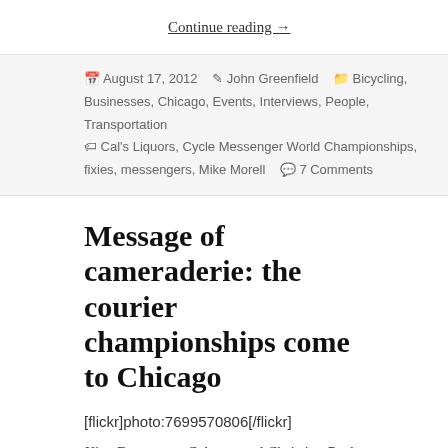Continue reading →
August 17, 2012  John Greenfield  Bicycling, Businesses, Chicago, Events, Interviews, People, Transportation  Cal's Liquors, Cycle Messenger World Championships, fixies, messengers, Mike Morell  7 Comments
Message of cameraderie: the courier championships come to Chicago
[flickr]photo:7699570806[/flickr]
Nico Deportago-Cabrera and Christina Peck.
[This piece also appeared in Checkerboard City, John's weekly transportation column in Newcity